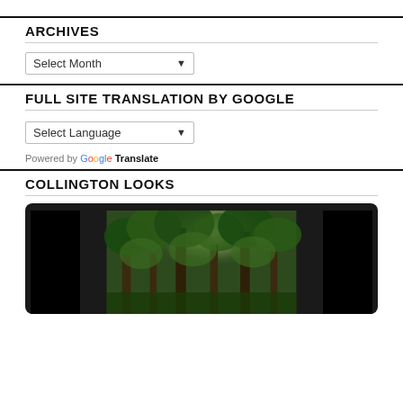ARCHIVES
Select Month
FULL SITE TRANSLATION BY GOOGLE
Select Language
Powered by Google Translate
COLLINGTON LOOKS
[Figure (photo): A laptop or monitor frame showing a forest scene with sunlight streaming through tall green trees]